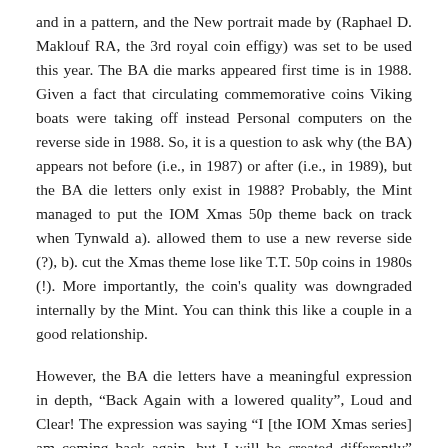and in a pattern, and the New portrait made by (Raphael D. Maklouf RA, the 3rd royal coin effigy) was set to be used this year. The BA die marks appeared first time is in 1988. Given a fact that circulating commemorative coins Viking boats were taking off instead Personal computers on the reverse side in 1988. So, it is a question to ask why (the BA) appears not before (i.e., in 1987) or after (i.e., in 1989), but the BA die letters only exist in 1988? Probably, the Mint managed to put the IOM Xmas 50p theme back on track when Tynwald a). allowed them to use a new reverse side (?), b). cut the Xmas theme lose like T.T. 50p coins in 1980s (!). More importantly, the coin's quality was downgraded internally by the Mint. You can think this like a couple in a good relationship.
However, the BA die letters have a meaningful expression in depth, “Back Again with a lowered quality”, Loud and Clear! The expression was saying “I [the IOM Xmas series] am coming back again, but I will be created differently” (support